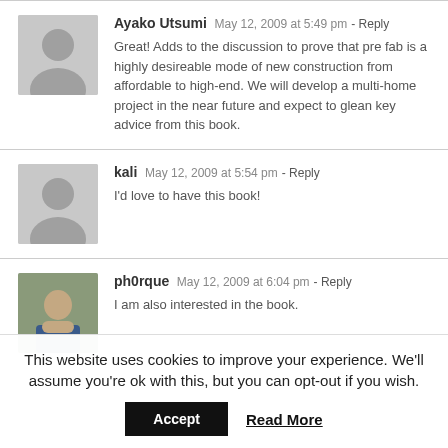Ayako Utsumi  May 12, 2009 at 5:49 pm - Reply
Great! Adds to the discussion to prove that pre fab is a highly desireable mode of new construction from affordable to high-end. We will develop a multi-home project in the near future and expect to glean key advice from this book.
kali  May 12, 2009 at 5:54 pm - Reply
I'd love to have this book!
ph0rque  May 12, 2009 at 6:04 pm - Reply
I am also interested in the book.
This website uses cookies to improve your experience. We'll assume you're ok with this, but you can opt-out if you wish.